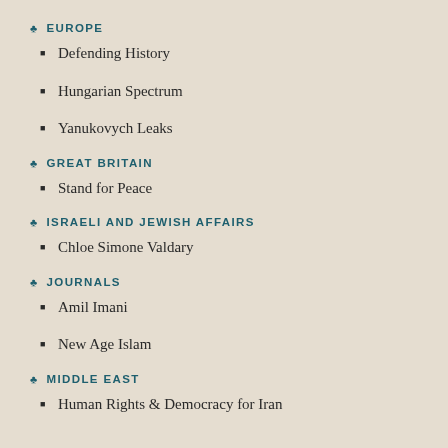EUROPE
Defending History
Hungarian Spectrum
Yanukovych Leaks
GREAT BRITAIN
Stand for Peace
ISRAELI AND JEWISH AFFAIRS
Chloe Simone Valdary
JOURNALS
Amil Imani
New Age Islam
MIDDLE EAST
Human Rights & Democracy for Iran